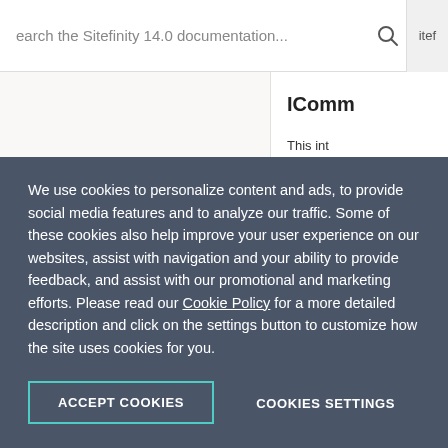Search the Sitefinity 14.0 documentation...
IComm
This int... subscri...
|  |  |
| --- | --- |
| 1 | u... |
| 2 | u... |
We use cookies to personalize content and ads, to provide social media features and to analyze our traffic. Some of these cookies also help improve your user experience on our websites, assist with navigation and your ability to provide feedback, and assist with our promotional and marketing efforts. Please read our Cookie Policy for a more detailed description and click on the settings button to customize how the site uses cookies for you.
ACCEPT COOKIES
COOKIES SETTINGS